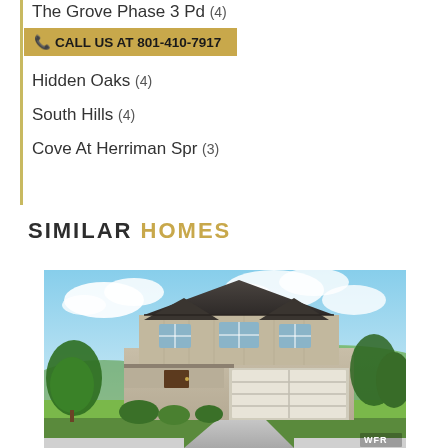The Grove Phase 3 Pd (4)
CALL US AT 801-410-7917
Hidden Oaks (4)
South Hills (4)
Cove At Herriman Spr (3)
SIMILAR HOMES
[Figure (photo): Exterior rendering of a two-story craftsman-style new construction home with covered porch, two-car garage, landscaped front yard, blue sky with clouds. WFR watermark in bottom right.]